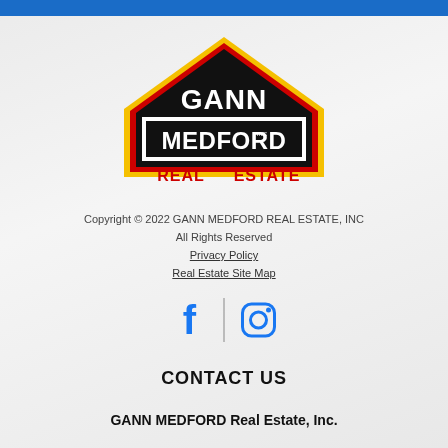[Figure (logo): Gann Medford Real Estate Inc. logo — diamond/house shape in black with yellow and red border outlines, white text GANN MEDFORD on black background, red text REAL ESTATE below]
Copyright © 2022 GANN MEDFORD REAL ESTATE, INC
All Rights Reserved
Privacy Policy
Real Estate Site Map
[Figure (illustration): Social media icons: Facebook (f) and Instagram (camera circle) in blue, separated by a vertical line]
CONTACT US
GANN MEDFORD Real Estate, Inc.